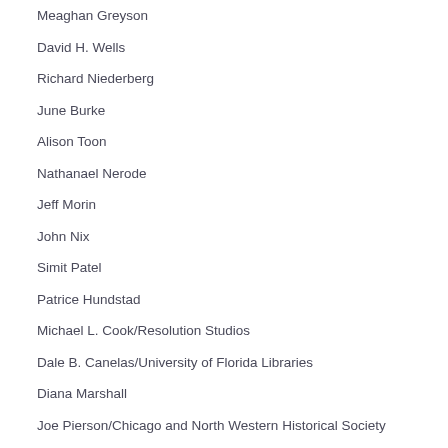Meaghan Greyson
David H. Wells
Richard Niederberg
June Burke
Alison Toon
Nathanael Nerode
Jeff Morin
John Nix
Simit Patel
Patrice Hundstad
Michael L. Cook/Resolution Studios
Dale B. Canelas/University of Florida Libraries
Diana Marshall
Joe Pierson/Chicago and North Western Historical Society
Jefferson Moss
Scott Lawton
Scott B. Cl...